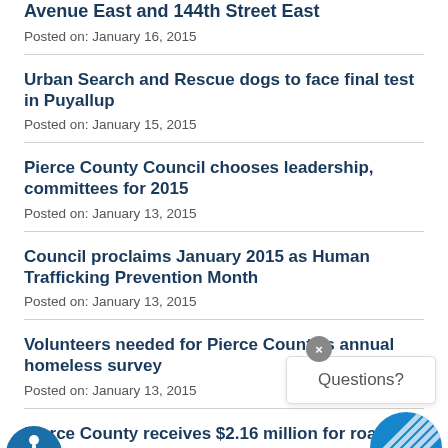Avenue East and 144th Street East
Posted on: January 16, 2015
Urban Search and Rescue dogs to face final test in Puyallup
Posted on: January 15, 2015
Pierce County Council chooses leadership, committees for 2015
Posted on: January 13, 2015
Council proclaims January 2015 as Human Trafficking Prevention Month
Posted on: January 13, 2015
Volunteers needed for Pierce County's annual homeless survey
Posted on: January 13, 2015
Pierce County receives $2.16 million for road safety projects